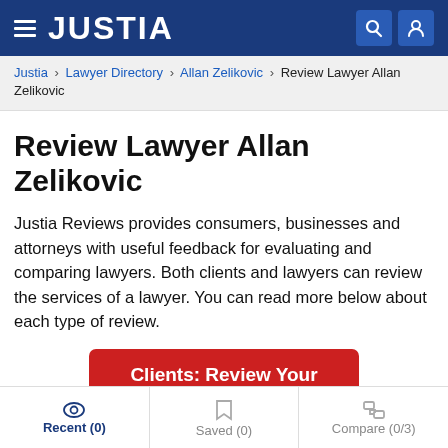JUSTIA
Justia › Lawyer Directory › Allan Zelikovic › Review Lawyer Allan Zelikovic
Review Lawyer Allan Zelikovic
Justia Reviews provides consumers, businesses and attorneys with useful feedback for evaluating and comparing lawyers. Both clients and lawyers can review the services of a lawyer. You can read more below about each type of review.
Clients: Review Your Lawyer
Recent (0)   Saved (0)   Compare (0/3)